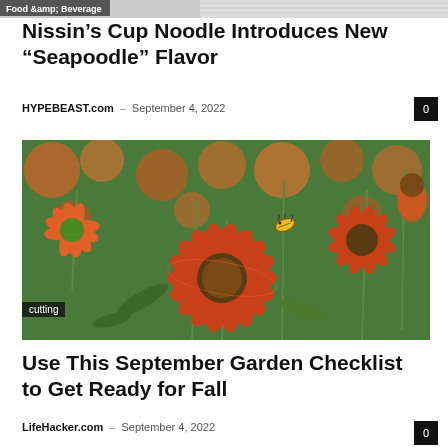[Figure (photo): Partial top strip showing a 'Food &amp; Beverage' tag and partial product image (Cup Noodles)]
Nissin’s Cup Noodle Introduces New “Seapoodle” Flavor
HYPEBEAST.com – September 4, 2022
[Figure (photo): A close-up photograph of orange and red helenium flowers in a garden with green foliage in the background. A label 'cutting' appears in the lower-left corner.]
Use This September Garden Checklist to Get Ready for Fall
LifeHacker.com – September 4, 2022